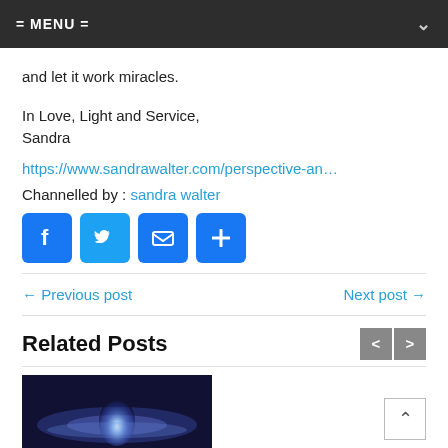= MENU =
and let it work miracles.
In Love, Light and Service,
Sandra
https://www.sandrawalter.com/perspective-an…
Channelled by : sandra walter
[Figure (infographic): Social share icons: Facebook, Twitter, Email, Add/Share]
← Previous post   Next post →
Related Posts
[Figure (photo): Glowing blue light energy spiral/galaxy image for related post thumbnail]